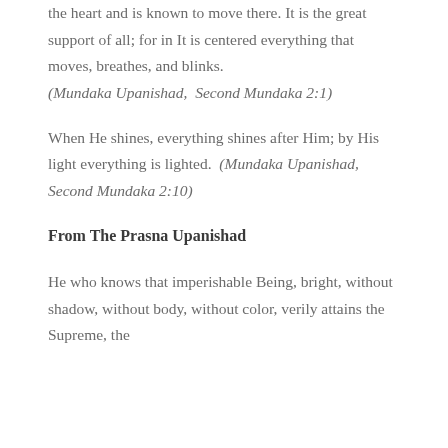the heart and is known to move there. It is the great support of all; for in It is centered everything that moves, breathes, and blinks. (Mundaka Upanishad, Second Mundaka 2:1)
When He shines, everything shines after Him; by His light everything is lighted. (Mundaka Upanishad, Second Mundaka 2:10)
From The Prasna Upanishad
He who knows that imperishable Being, bright, without shadow, without body, without color, verily attains the Supreme, the